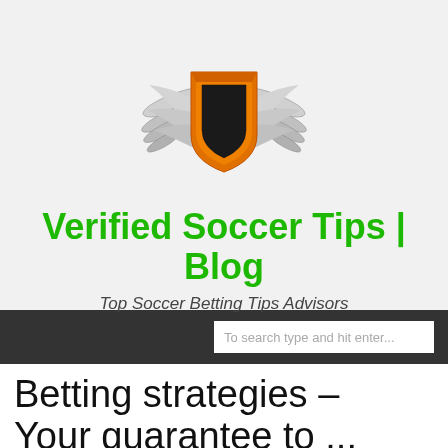[Figure (logo): Shield logo with orange and black shield with silver wings, site logo for Verified Soccer Tips]
Verified Soccer Tips | Blog
Top Soccer Betting Tips Advisors
To search type and hit enter...
Betting strategies – Your guarantee to ...